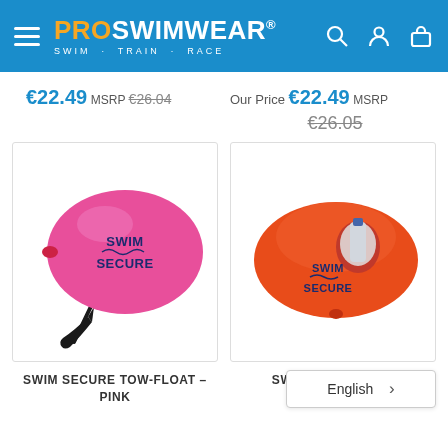PRO SWIMWEAR® SWIM · TRAIN · RACE
€22.49 MSRP €26.04
Our Price €22.49 MSRP €26.05
[Figure (photo): Pink swim tow-float buoy with 'SWIM SECURE' text and black wrist strap]
[Figure (photo): Orange swim tow-float buoy with 'SWIM SECURE' text and water bottle holder]
SWIM SECURE TOW-FLOAT – PINK
SWIM SECURE FLO